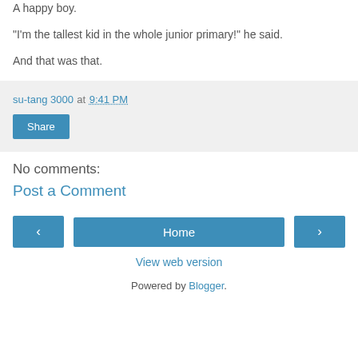A happy boy.
"I'm the tallest kid in the whole junior primary!" he said.
And that was that.
su-tang 3000 at 9:41 PM
Share
No comments:
Post a Comment
< Home > View web version Powered by Blogger.